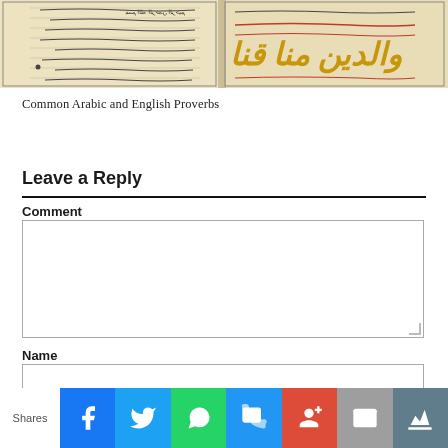[Figure (photo): Photograph of an open Arabic manuscript book with handwritten text in black ink and gold/red Arabic calligraphy]
Common Arabic and English Proverbs
Leave a Reply
Comment
Name
[Figure (infographic): Social sharing bar with icons: Facebook, Twitter, WhatsApp, SMS, Google+, Mail, Crown — labeled 'Shares']